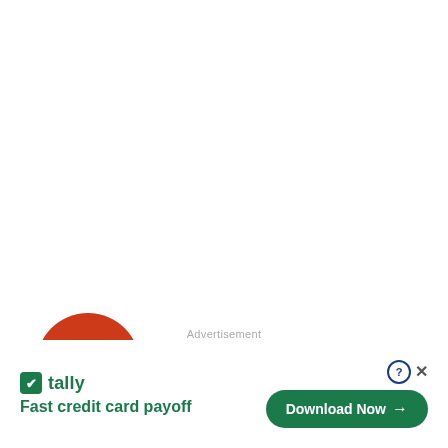[Figure (logo): News Assistant app logo: orange-red circle with speech bubble tail, containing white text 'NEWS' on black bar and 'ASSISTANT' on white bar, with small red subtitle text below]
Advertisement
[Figure (logo): Tally app advertisement banner: green Tally logo icon, 'tally' brand name in green, tagline 'Fast credit card payoff' in green bold, and a green 'Download Now' pill button with arrow, plus help (?) and close (x) controls]